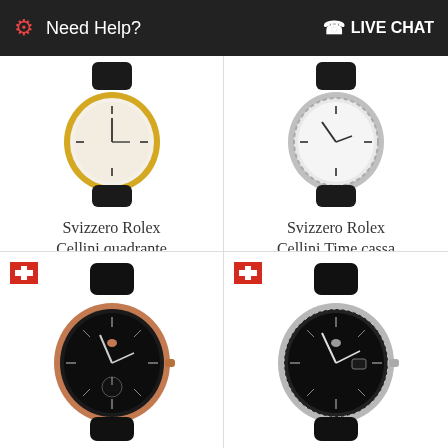Need Help?  LIVE CHAT
[Figure (photo): Rolex Cellini watch with gold case and black leather strap, viewed from above at slight angle, dial partially visible]
Svizzero Rolex Cellini quadrante
412,37 US$
[Figure (photo): Rolex Cellini watch with silver/steel case and black leather strap, viewed from above at slight angle]
Svizzero Rolex Cellini Time cassa
625,81 US$
[Figure (photo): Rolex watch with rose gold case and black dial, black leather strap, Swiss cross flag badge visible, small seconds subdial]
[Figure (photo): Rolex watch with silver/steel case and black dial, black leather strap, Swiss cross flag badge visible]